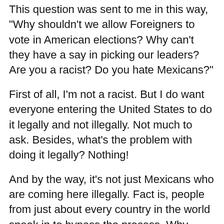This question was sent to me in this way, "Why shouldn't we allow Foreigners to vote in American elections? Why can't they have a say in picking our leaders? Are you a racist? Do you hate Mexicans?"
First of all, I'm not a racist. But I do want everyone entering the United States to do it legally and not illegally. Not much to ask. Besides, what's the problem with doing it legally? Nothing!
And by the way, it's not just Mexicans who are coming here illegally. Fact is, people from just about every country in the world sneak in to bypass the process. Why should they do so when others are doing it legally?
For the woman who wrote me, please ask yourself how would you would feel if you were standing in line for a movie and someone cut in line and tried to get in free after you paid?
Oh, I forgot that a number of people seem to have forgotten that our parents, grandparents, great-grandparents, or someone in our family paid the price to get in and assimilate